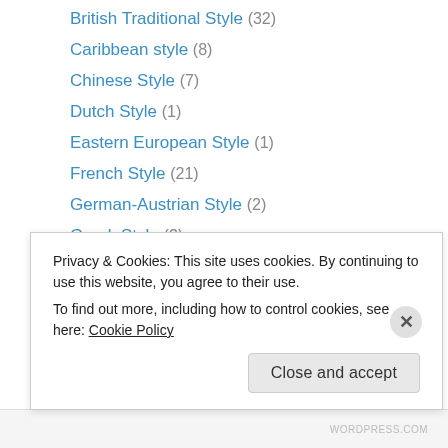British Traditional Style (32)
Caribbean style (8)
Chinese Style (7)
Dutch Style (1)
Eastern European Style (1)
French Style (21)
German-Austrian Style (2)
Greek Style (3)
Hungarian Style (1)
Indian Style (15)
Indonesian Style (1)
Italian Style (16)
Mediterranean Style Food (9)
Middle Eastern Style (7) [partially visible]
Privacy & Cookies: This site uses cookies. By continuing to use this website, you agree to their use. To find out more, including how to control cookies, see here: Cookie Policy
Close and accept